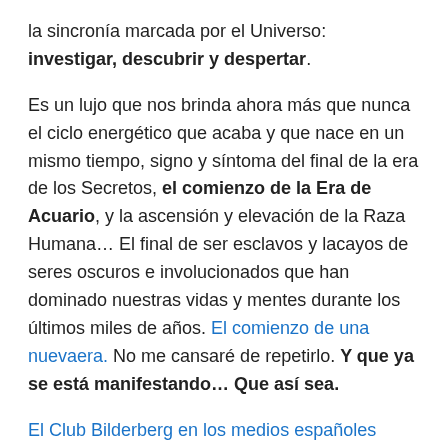la sincronía marcada por el Universo: investigar, descubrir y despertar.
Es un lujo que nos brinda ahora más que nunca el ciclo energético que acaba y que nace en un mismo tiempo, signo y síntoma del final de la era de los Secretos, el comienzo de la Era de Acuario, y la ascensión y elevación de la Raza Humana… El final de ser esclavos y lacayos de seres oscuros e involucionados que han dominado nuestras vidas y mentes durante los últimos miles de años. El comienzo de una nuevaera. No me cansaré de repetirlo. Y que ya se está manifestando… Que así sea.
El Club Bilderberg en los medios españoles
Más info: